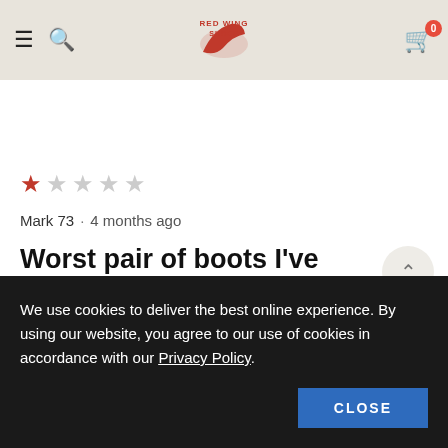Red Wing Shoes — Navigation header with hamburger menu, search icon, Red Wing Shoes logo, and cart icon with 0 items
[Figure (screenshot): White content band above review]
★☆☆☆☆
Mark 73 · 4 months ago
Worst pair of boots I've bought from Red Wing
We use cookies to deliver the best online experience. By using our website, you agree to our use of cookies in accordance with our Privacy Policy.
CLOSE